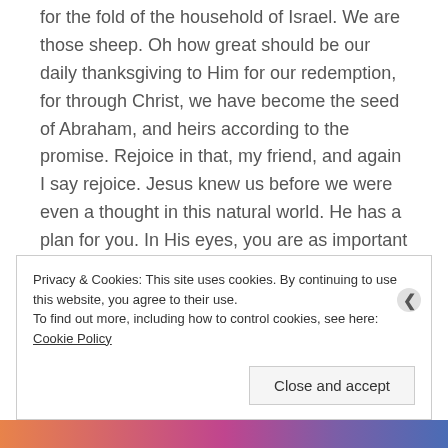for the fold of the household of Israel. We are those sheep. Oh how great should be our daily thanksgiving to Him for our redemption, for through Christ, we have become the seed of Abraham, and heirs according to the promise. Rejoice in that, my friend, and again I say rejoice. Jesus knew us before we were even a thought in this natural world. He has a plan for you. In His eyes, you are as important as any other person who has ever lived. He loves you like He loves Jesus, with Whom you are a joint-heir.
Privacy & Cookies: This site uses cookies. By continuing to use this website, you agree to their use. To find out more, including how to control cookies, see here: Cookie Policy
Close and accept